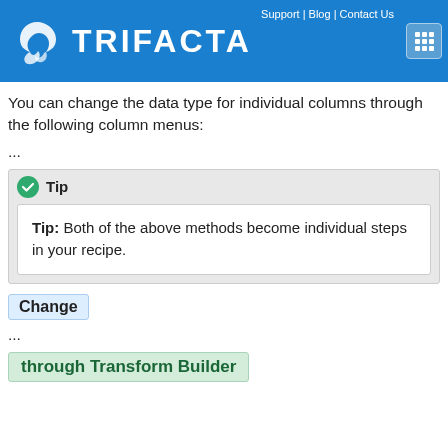Trifacta | Support | Blog | Contact Us
You can change the data type for individual columns through the following column menus:
...
Tip: Both of the above methods become individual steps in your recipe.
Change
...
through Transform Builder